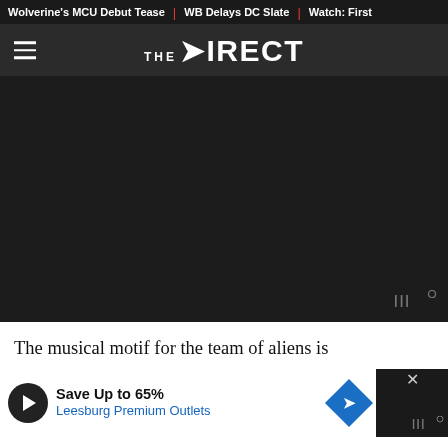Wolverine's MCU Debut Tease | WB Delays DC Slate | Watch: First
THE DIRECT
[Figure (screenshot): Large dark image placeholder area with a small watermark logo (three dots and superscript circle mark) in the bottom right corner]
The musical motif for the team of aliens is
[Figure (screenshot): Advertisement banner: Save Up to 65% Leesburg Premium Outlets, with play button icon, infinity symbol, navigation arrow icon, and close X button. Dark background on right side with partial article text visible.]